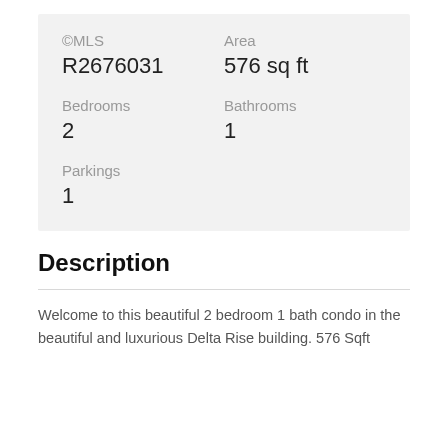©MLS
Area
R2676031
576 sq ft
Bedrooms
Bathrooms
2
1
Parkings
1
Description
Welcome to this beautiful 2 bedroom 1 bath condo in the beautiful and luxurious Delta Rise building. 576 Sqft